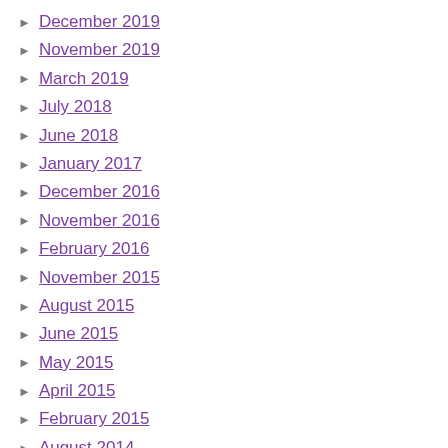December 2019
November 2019
March 2019
July 2018
June 2018
January 2017
December 2016
November 2016
February 2016
November 2015
August 2015
June 2015
May 2015
April 2015
February 2015
August 2014